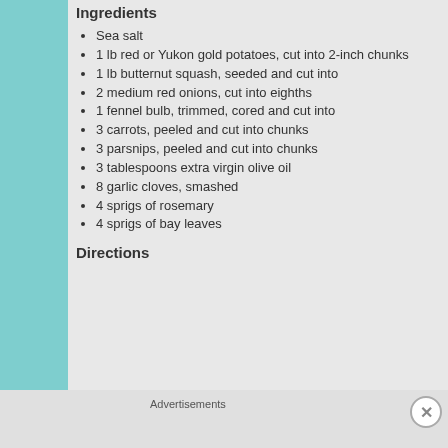Ingredients
Sea salt
1 lb red or Yukon gold potatoes, cut into 2-inch chunks
1 lb butternut squash, seeded and cut into
2 medium red onions, cut into eighths
1 fennel bulb, trimmed, cored and cut into
3 carrots, peeled and cut into chunks
3 parsnips, peeled and cut into chunks
3 tablespoons extra virgin olive oil
8 garlic cloves, smashed
4 sprigs of rosemary
4 sprigs of bay leaves
Directions
Advertisements